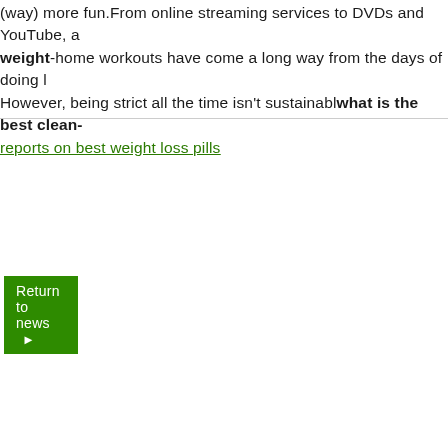(way) more fun.From online streaming services to DVDs and YouTube, weight-home workouts have come a long way from the days of doing l... However, being strict all the time isn't sustainabl what is the best clean-
reports on best weight loss pills
[Figure (other): Green 'Return to news' button with arrow]